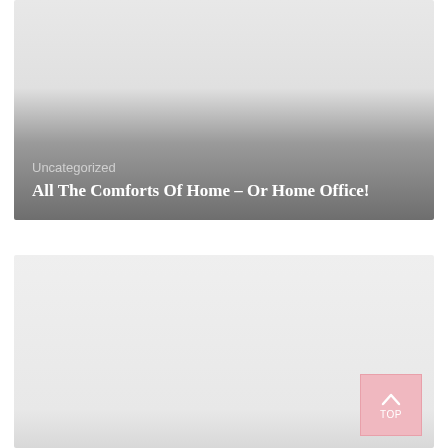[Figure (photo): Blog post card with gradient background (light gray to dark gray). Contains category label 'Uncategorized' and bold title 'All The Comforts Of Home – Or Home Office!']
Uncategorized
All The Comforts Of Home – Or Home Office!
[Figure (photo): Second blog post card with light gray background. Has a pink 'TOP' scroll-to-top button in the bottom right corner with a chevron/arrow up icon.]